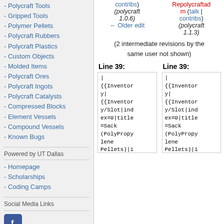- Polycraft Tools
- Gripped Tools
- Polymer Pellets
- Polycraft Rubbers
- Polycraft Plastics
- Custom Objects
- Molded Items
- Polycraft Ores
- Polycraft Ingots
- Polycraft Catalysts
- Compressed Blocks
- Element Vessels
- Compound Vessels
- Known Bugs
Powered by UT Dallas
- Homepage
- Scholarships
- Coding Camps
Social Media Links
contribs) (polycraft 1.0.6) ← Older edit
Repolycraftadm (talk | contribs) (polycraft 1.1.3)
(2 intermediate revisions by the same user not shown)
Line 39:
Line 39:
| {{Inventory| {{Inventory/Slot|index=0|title=Sack (PolyPropylene Pellets)|i
| {{Inventory| {{Inventory/Slot|index=0|title=Sack (PolyPropylene Pellets)|i